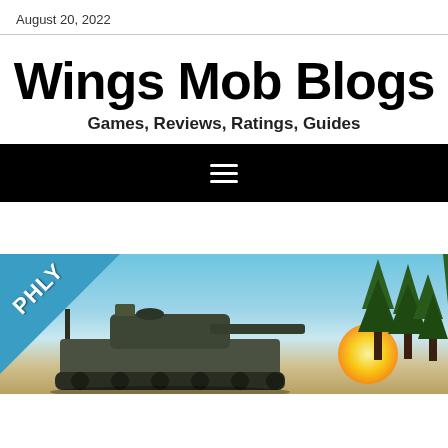August 20, 2022
Wings Mob Blogs
Games, Reviews, Ratings, Guides
[Figure (screenshot): Black navigation bar with white hamburger menu icon (three horizontal lines)]
[Figure (photo): Screenshot of a military tank game (War Thunder) with PHLY logo badge in the top-left corner, showing a tank with trees and sunset in the background]